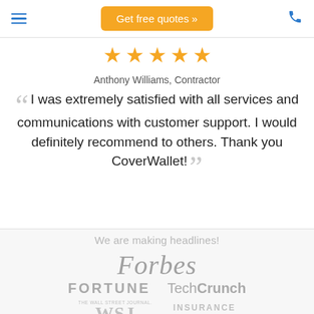Get free quotes »
[Figure (illustration): Five gold star rating icons in a row]
Anthony Williams, Contractor
I was extremely satisfied with all services and communications with customer support. I would definitely recommend to others. Thank you CoverWallet!
We are making headlines!
[Figure (logo): Forbes logo in gray italic serif font]
[Figure (logo): FORTUNE logo in gray uppercase and TechCrunch logo in gray]
[Figure (logo): The Wall Street Journal WSJ logo in gray and Insurance Journal logo in gray]